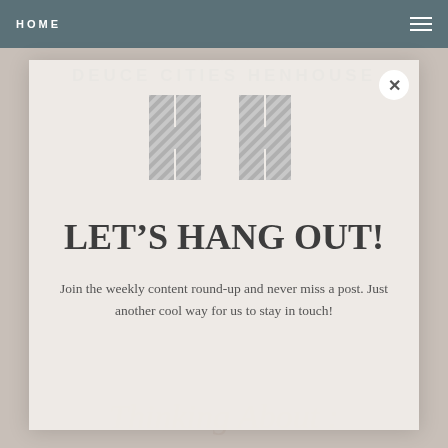HOME
DEUCE CITIES HENHOUSE
[Figure (logo): HH stylized logo mark with diagonal stripe pattern in light gray]
LET'S HANG OUT!
Join the weekly content round-up and never miss a post. Just another cool way for us to stay in touch!
Thinking About :